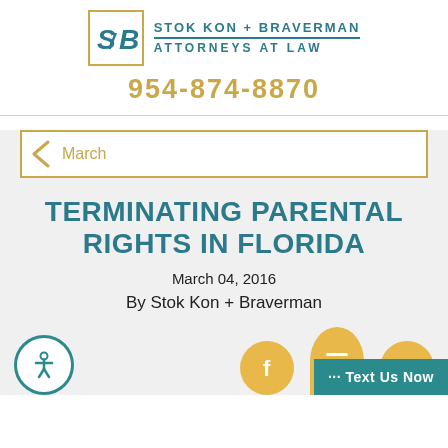[Figure (logo): Stok Kon + Braverman law firm logo with stylized SKB letters in teal and gold border, plus firm name text]
954-874-8870
March
TERMINATING PARENTAL RIGHTS IN FLORIDA
March 04, 2016
By Stok Kon + Braverman
[Figure (infographic): Social sharing bar with accessibility icon (teal circle), Facebook icon (gold circle), menu/chat icon (gold circle), LinkedIn icon (gold circle), and a teal Text Us Now button]